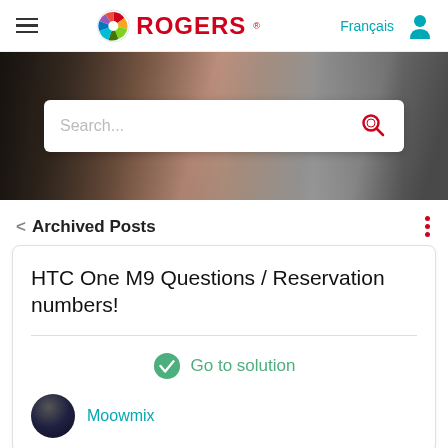Rogers community page header with hamburger menu, Rogers logo, Français link, and user icon
[Figure (screenshot): Hero banner image with people in an urban setting, with a search bar overlay]
< Archived Posts
HTC One M9 Questions / Reservation numbers!
Go to solution
Moowmix